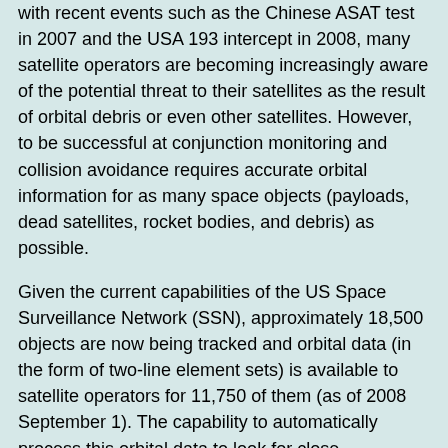with recent events such as the Chinese ASAT test in 2007 and the USA 193 intercept in 2008, many satellite operators are becoming increasingly aware of the potential threat to their satellites as the result of orbital debris or even other satellites. However, to be successful at conjunction monitoring and collision avoidance requires accurate orbital information for as many space objects (payloads, dead satellites, rocket bodies, and debris) as possible.
Given the current capabilities of the US Space Surveillance Network (SSN), approximately 18,500 objects are now being tracked and orbital data (in the form of two-line element sets) is available to satellite operators for 11,750 of them (as of 2008 September 1). The capability to automatically process this orbital data to look for close conjunctions and provide that information to satellite operators via the Internet has been continuously available on CelesTrak, in the form of Satellite Orbital Conjunction Reports Assessing Threatening Encounters in Space (SOCRATES), since May 2004. Those reports are used by many operators as one way to keep apprised of these potential threats.